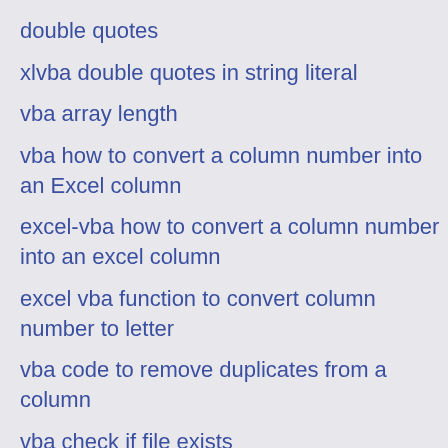double quotes
xlvba double quotes in string literal
vba array length
vba how to convert a column number into an Excel column
excel-vba how to convert a column number into an excel column
excel vba function to convert column number to letter
vba code to remove duplicates from a column
vba check if file exists
excel vba copy range with filter
vba delete file
vb.net remove last char from string
write to text file vb.net